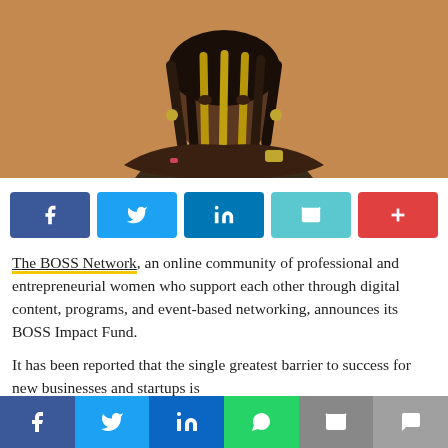[Figure (photo): A Black woman with long braided locs, wearing a dark navy sleeveless top, arms crossed, looking at the camera. The background is a warm tan/beige color.]
[Figure (infographic): A row of social sharing buttons: Facebook (blue), Twitter (light blue), LinkedIn (dark blue), Email (cyan), and a red plus/more button.]
The BOSS Network, an online community of professional and entrepreneurial women who support each other through digital content, programs, and event-based networking, announces its BOSS Impact Fund.

It has been reported that the single greatest barrier to success for new businesses and startups is
[Figure (infographic): Bottom social sharing bar with icons for Facebook, Twitter, LinkedIn, WhatsApp, Email, and SMS.]